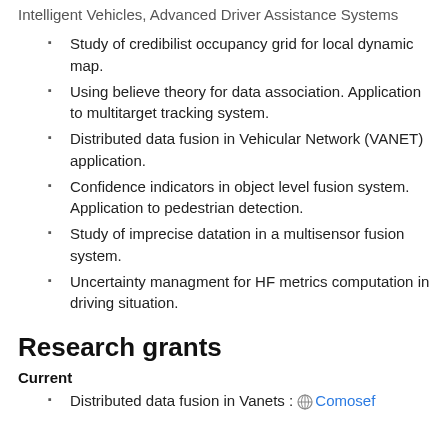Intelligent Vehicles, Advanced Driver Assistance Systems
Study of credibilist occupancy grid for local dynamic map.
Using believe theory for data association. Application to multitarget tracking system.
Distributed data fusion in Vehicular Network (VANET) application.
Confidence indicators in object level fusion system. Application to pedestrian detection.
Study of imprecise datation in a multisensor fusion system.
Uncertainty managment for HF metrics computation in driving situation.
Research grants
Current
Distributed data fusion in Vanets : Comosef